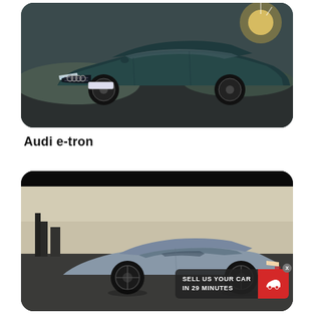[Figure (photo): Dark teal/green Audi e-tron SUV photographed from the front-left angle on a road, with sunlight flaring behind the vehicle]
Audi e-tron
[Figure (photo): Silver-blue Audi e-tron GT sports car photographed from the side on a road with city buildings in background; overlaid with a red advertisement banner reading SELL US YOUR CAR IN 29 MINUTES with a car icon and an X close button]